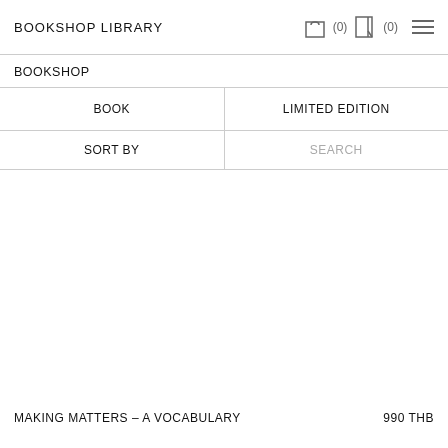BOOKSHOP LIBRARY    (0)   (0)
BOOKSHOP
| BOOK | LIMITED EDITION |
| --- | --- |
| SORT BY | SEARCH |
| --- | --- |
[Figure (other): Empty white product listing area for bookshop items]
MAKING MATTERS – A VOCABULARY    990 THB